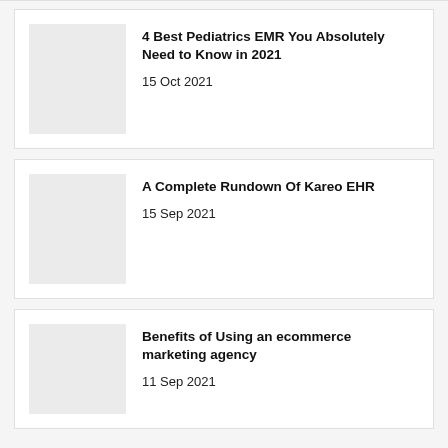[Figure (other): Thumbnail placeholder image for article 1]
4 Best Pediatrics EMR You Absolutely Need to Know in 2021
15 Oct 2021
[Figure (other): Thumbnail placeholder image for article 2]
A Complete Rundown Of Kareo EHR
15 Sep 2021
[Figure (other): Thumbnail placeholder image for article 3]
Benefits of Using an ecommerce marketing agency
11 Sep 2021